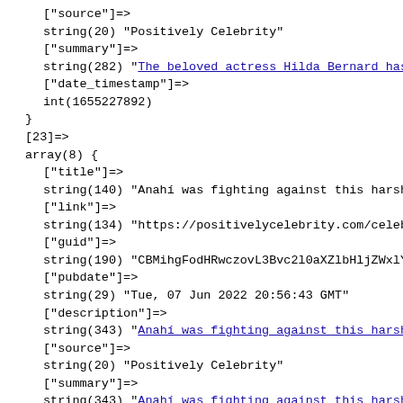PHP var_dump output showing array data for items [23] and [24] with keys: source, summary, date_timestamp, title, link, guid, pubdate, description, source, summary, date_timestamp
["source"]=>
string(20) "Positively Celebrity"
["summary"]=>
string(282) "The beloved actress Hilda Bernard has
["date_timestamp"]=>
int(1655227892)
}
[23]=>
array(8) {
    ["title"]=>
    string(140) "Anahi was fighting against this harsh
    ["link"]=>
    string(134) "https://positivelycelebrity.com/celeb
    ["guid"]=>
    string(190) "CBMihgFodHRwczovL3Bvc2l0aXZlbHljZWxlYnJpdHkuY29tL2NlbGVicml0eS9hbmFoaS13YXMtZmlnaHRpbmctYWdhaW5zdC10aGlzLWhhcnNoLXJlYWxpdHktb2YtaGVyLXNpY2tuZXNzLW9yLWRpZC1zaGUtbGllLWFib3V0LWl0L"
    ["pubdate"]=>
    string(29) "Tue, 07 Jun 2022 20:56:43 GMT"
    ["description"]=>
    string(343) "Anahi was fighting against this harsh
    ["source"]=>
    string(20) "Positively Celebrity"
    ["summary"]=>
    string(343) "Anahi was fighting against this harsh
    ["date_timestamp"]=>
    int(1654635403)
}
[24]=>
array(8) {
    ["title"]=>
    string(118) "What song by Edén Muñoz made El Fantas